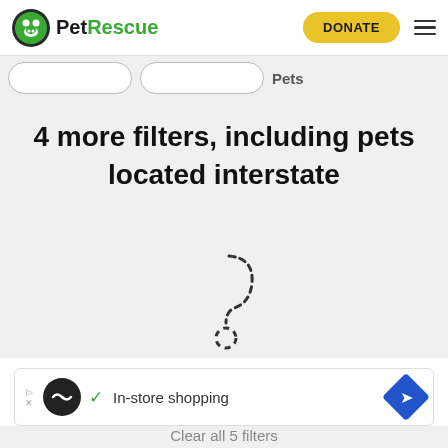PetRescue
[Figure (screenshot): Partial filter bar with two pill-shaped filter inputs and a truncated 'Pets' label]
4 more filters, including pets located interstate
[Figure (illustration): Dashed curved line forming a question mark shape, indicating a loading or empty state]
More search options
[Figure (screenshot): Advertisement banner with black circle logo, checkmark, 'In-store shopping' text, and blue diamond navigation icon]
Clear all 5 filters